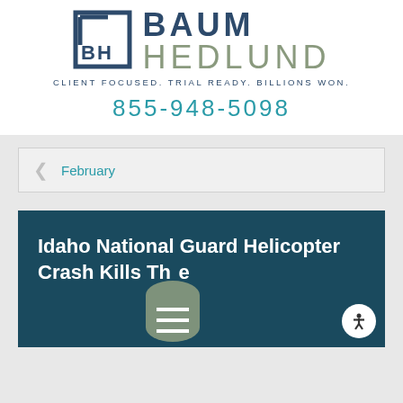[Figure (logo): Baum Hedlund law firm logo with bracket graphic, firm name in two-tone typography, tagline CLIENT FOCUSED. TRIAL READY. BILLIONS WON., and phone number 855-948-5098]
February
Idaho National Guard Helicopter Crash Kills Three